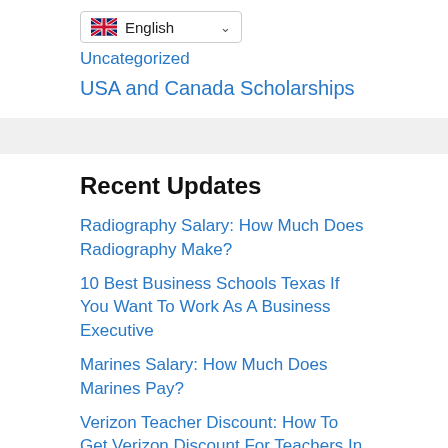English
Uncategorized
USA and Canada Scholarships
Recent Updates
Radiography Salary: How Much Does Radiography Make?
10 Best Business Schools Texas If You Want To Work As A Business Executive
Marines Salary: How Much Does Marines Pay?
Verizon Teacher Discount: How To Get Verizon Discount For Teachers In USA